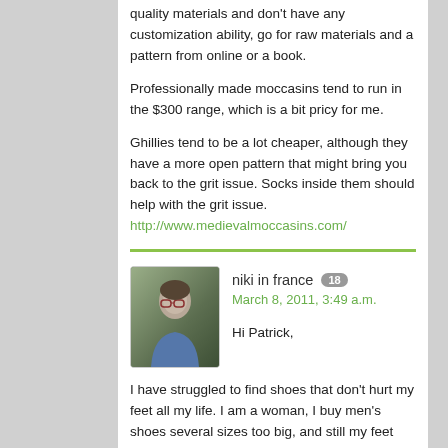quality materials and don't have any customization ability, go for raw materials and a pattern from online or a book.
Professionally made moccasins tend to run in the $300 range, which is a bit pricy for me.
Ghillies tend to be a lot cheaper, although they have a more open pattern that might bring you back to the grit issue. Socks inside them should help with the grit issue. http://www.medievalmoccasins.com/
niki in france 18
March 8, 2011, 3:49 a.m.
Hi Patrick,
I have struggled to find shoes that don't hurt my feet all my life. I am a woman, I buy men's shoes several sizes too big, and still my feet are crushed. My feet are also wider in the toes than anywhere else, they get progressively wider.